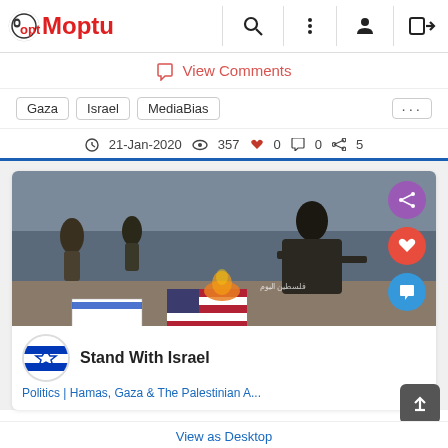Moptu
View Comments
Gaza  Israel  MediaBias  ...
21-Jan-2020  357  0  0  5
[Figure (photo): Protest scene with people burning American and Israeli flags on the ground, with a man in a dark jacket in the foreground. Social sharing buttons (purple share, red heart, blue comment) float on the right side.]
Stand With Israel
Politics | Hamas, Gaza & The Palestinian A...
View as Desktop